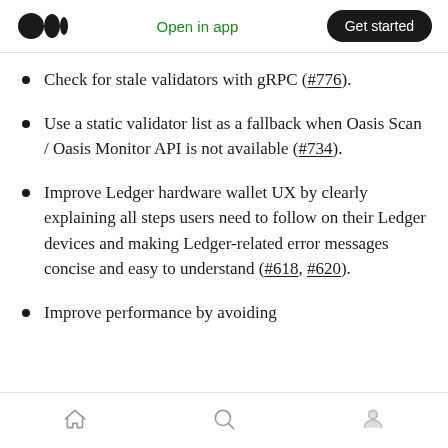Open in app  Get started
Check for stale validators with gRPC (#776).
Use a static validator list as a fallback when Oasis Scan / Oasis Monitor API is not available (#734).
Improve Ledger hardware wallet UX by clearly explaining all steps users need to follow on their Ledger devices and making Ledger-related error messages concise and easy to understand (#618, #620).
Improve performance by avoiding
Home  Search  Profile